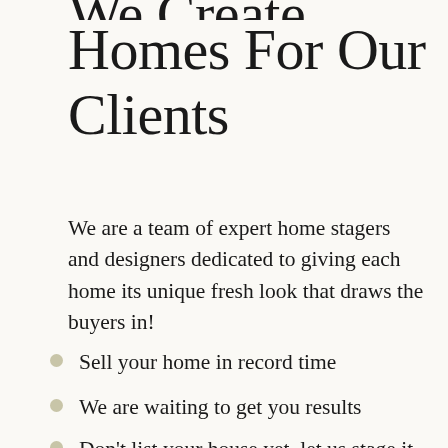We Create Beautiful Homes For Our Clients
We are a team of expert home stagers and designers dedicated to giving each home its unique fresh look that draws the buyers in!
Sell your home in record time
We are waiting to get you results
Don't list your house yet, let us stage it